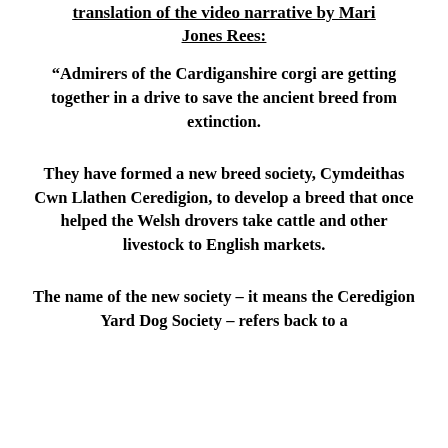translation of the video narrative by Mari Jones Rees:
“Admirers of the Cardiganshire corgi are getting together in a drive to save the ancient breed from extinction.
They have formed a new breed society, Cymdeithas Cwn Llathen Ceredigion, to develop a breed that once helped the Welsh drovers take cattle and other livestock to English markets.
The name of the new society – it means the Ceredigion Yard Dog Society – refers back to a